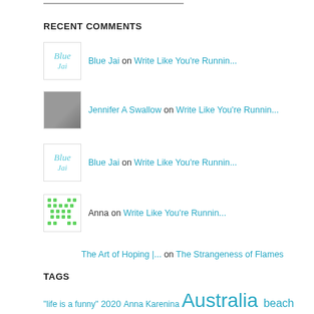RECENT COMMENTS
Blue Jai on Write Like You're Runnin...
Jennifer A Swallow on Write Like You're Runnin...
Blue Jai on Write Like You're Runnin...
Anna on Write Like You're Runnin...
The Art of Hoping |... on The Strangeness of Flames
TAGS
"life is a funny" 2020 Anna Karenina Australia beach Bhagavad Gita Blue Jai Creative books Christine and the Queens Christmas Cillian Murphy creativity dance David